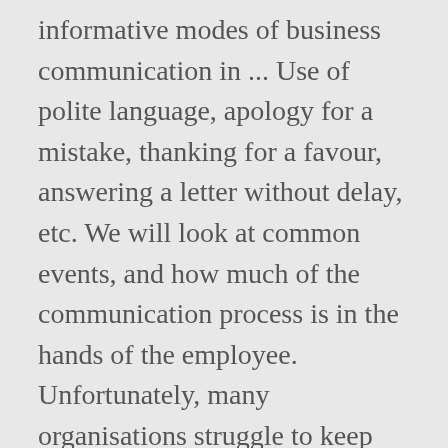informative modes of business communication in ... Use of polite language, apology for a mistake, thanking for a favour, answering a letter without delay, etc. We will look at common events, and how much of the communication process is in the hands of the employee. Unfortunately, many organisations struggle to keep conversations flowing in a complex work environment. Jane P. . It conveys important information to the receiver. An Effective Communication is a communication between two or more persons wherein the intended message is successfully delivered, received and understood. effective communication, this is obvious, where there is